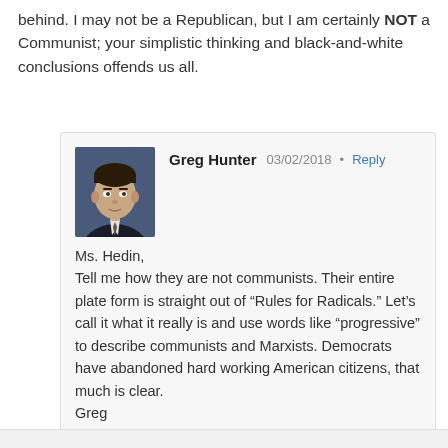behind. I may not be a Republican, but I am certainly NOT a Communist; your simplistic thinking and black-and-white conclusions offends us all.
Greg Hunter  03/02/2018 · Reply
Ms. Hedin,
Tell me how they are not communists. Their entire plate form is straight out of “Rules for Radicals.” Let’s call it what it really is and use words like “progressive” to describe communists and Marxists. Democrats have abandoned hard working American citizens, that much is clear.
Greg